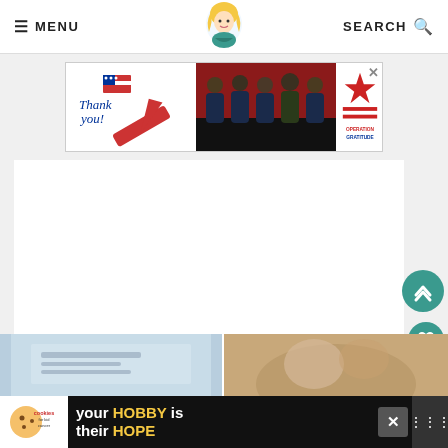≡ MENU | [logo] | SEARCH 🔍
[Figure (screenshot): Operation Gratitude thank you banner advertisement with text 'Thank you!' over a patriotic pencil and firefighters photo]
[Figure (screenshot): Large white content area placeholder]
[Figure (infographic): Scroll-to-top teal circular button with upward chevrons on the right side]
[Figure (infographic): Heart/save teal circular button showing 4.6K count]
[Figure (infographic): Share teal circular button]
[Figure (screenshot): Two thumbnail images at bottom: left is light blue background recipe card, right is warm tan/brown food photo]
[Figure (screenshot): Bottom dark advertisement for 'cookies for kid cancer' with text 'your HOBBY is their HOPE']